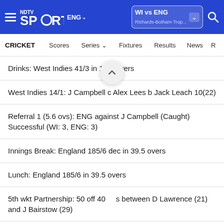NDTV Sports | ENG | WI vs ENG | Richards-Botham Trop...
CRICKET | Scores | Series | Fixtures | Results | News
Drinks: West Indies 41/3 in 15.0 overs
West Indies 14/1: J Campbell c Alex Lees b Jack Leach 10(22)
Referral 1 (5.6 ovs): ENG against J Campbell (Caught) Successful (WI: 3, ENG: 3)
Innings Break: England 185/6 dec in 39.5 overs
Lunch: England 185/6 in 39.5 overs
5th wkt Partnership: 50 off 40 balls between D Lawrence (21) and J Bairstow (29)
England 150/4 in 33.3 overs